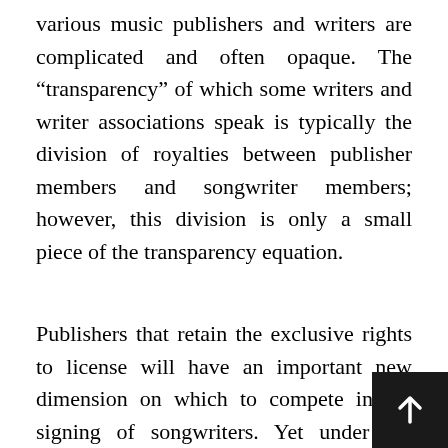various music publishers and writers are complicated and often opaque. The “transparency” of which some writers and writer associations speak is typically the division of royalties between publisher members and songwriter members; however, this division is only a small piece of the transparency equation.
Publishers that retain the exclusive rights to license will have an important new dimension on which to compete in the signing of songwriters. Yet under the ASCAP and BMI new media licenses, songwriters receive surprisingly little even for compositions that are performed millions of times. While revenu